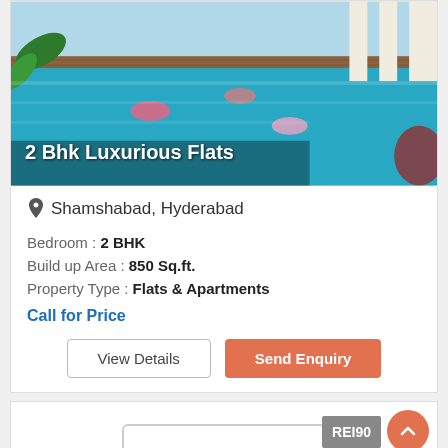[Figure (photo): Swimming pool with people, luxury apartment complex background]
2 Bhk Luxurious Flats
Shamshabad, Hyderabad
Bedroom : 2 BHK
Build up Area : 850 Sq.ft.
Property Type : Flats & Apartments
Call for Price
View Details
Send Enquiry
REI90...
[Figure (photo): No image placeholder for second property listing]